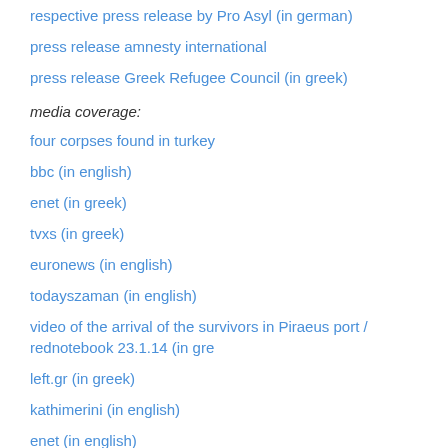respective press release by Pro Asyl (in german)
press release amnesty international
press release Greek Refugee Council (in greek)
media coverage:
four corpses found in turkey
bbc (in english)
enet (in greek)
tvxs (in greek)
euronews (in english)
todayszaman (in english)
video of the arrival of the survivors in Piraeus port / rednotebook 23.1.14 (in gre
left.gr (in greek)
kathimerini (in english)
enet (in english)
paralilografos (in greek)
i-efimerida (in greek)